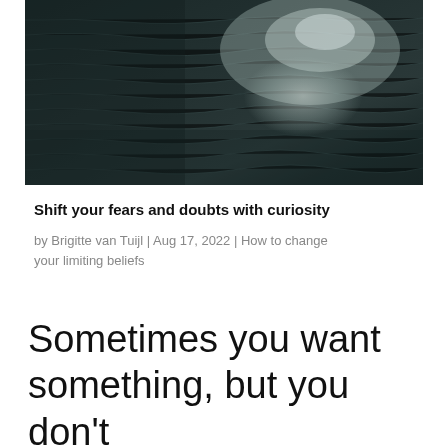[Figure (photo): Dark rippling water surface with light reflection in upper right area]
Shift your fears and doubts with curiosity
by Brigitte van Tuijl | Aug 17, 2022 | How to change your limiting beliefs
Sometimes you want something, but you don't